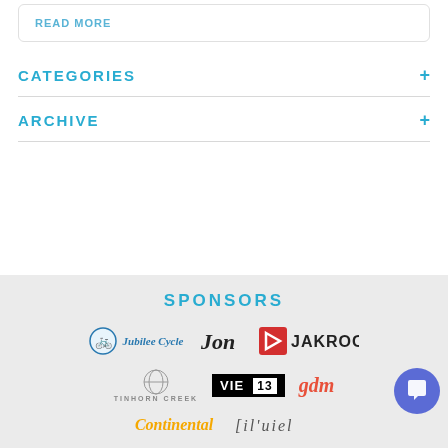READ MORE
CATEGORIES
ARCHIVE
SPONSORS
[Figure (logo): Sponsor logos row 1: Jubilee Cycle, Jon (script), Jakroo]
[Figure (logo): Sponsor logos row 2: Tinhorn Creek, VIE 13, gdm]
[Figure (logo): Sponsor logos row 3 (partial): Continental, another logo]